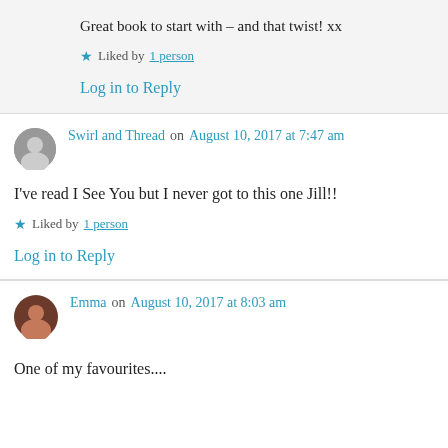Great book to start with – and that twist! xx
Liked by 1 person
Log in to Reply
Swirl and Thread on August 10, 2017 at 7:47 am
I've read I See You but I never got to this one Jill!!
Liked by 1 person
Log in to Reply
Emma on August 10, 2017 at 8:03 am
One of my favourites....